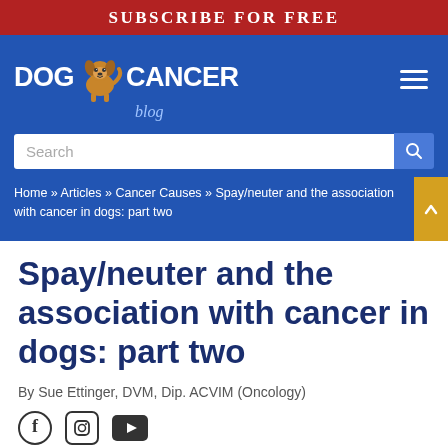SUBSCRIBE FOR FREE
[Figure (logo): Dog Cancer Blog logo with cartoon golden retriever dog between 'DOG' and 'CANCER' text, and 'blog' in italic below, on blue background]
Search
Home » Articles » Cancer Causes » Spay/neuter and the association with cancer in dogs: part two
Spay/neuter and the association with cancer in dogs: part two
By Sue Ettinger, DVM, Dip. ACVIM (Oncology)